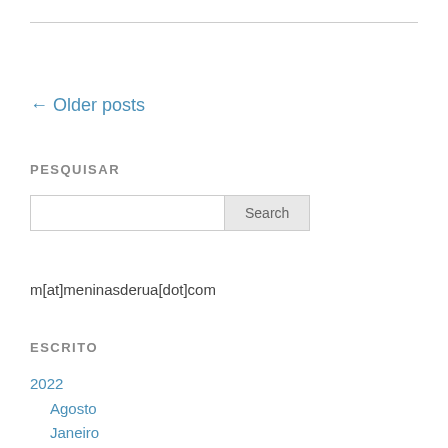← Older posts
PESQUISAR
Search (input + button)
m[at]meninasderua[dot]com
ESCRITO
2022
Agosto
Janeiro